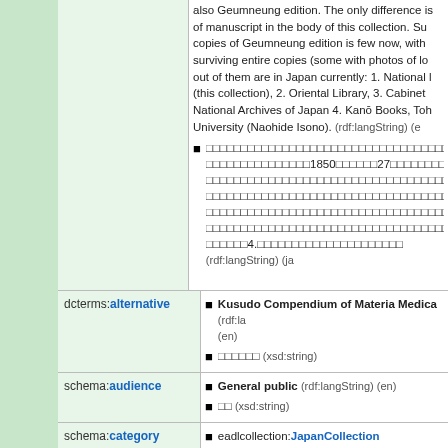also Geumneung edition. The only difference is of manuscript in the body of this collection. Su copies of Geumneung edition is few now, with surviving entire copies (some with photos of lo out of them are in Japan currently: 1. National (this collection), 2. Oriental Library, 3. Cabinet National Archives of Japan 4. Kanō Books, Toh University (Naohide Isono). (rdf:langString) (e
[Japanese text] 1850 [Japanese text] 27 [Japanese text] ... 1. [Japanese text] 4. [Japanese text] (rdf:langString) (ja
dcterms:alternative
Kusudo Compendium of Materia Medica (rdf:la (en)
[Japanese text] (xsd:string)
schema:audience
General public (rdf:langString) (en)
[CJK] (xsd:string)
schema:category
eadlcollection:JapanCollection
eadlcollection:NDL_Classical_Material_Collec
eadlcollection:NDL_Herbal_medicine_and_nat
dc:creator
(圖) [CJK] 自 (xsd:string)
(圖) [CJK] 口 (xsd:string)
(圖) [CJK] 口 (xsd:string)
Compiled by Li Shizhen (Ming dynasty) (xsd:s